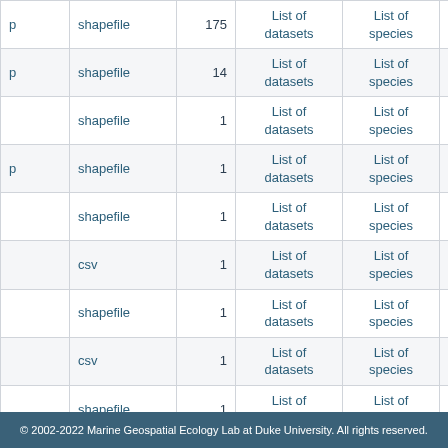|  | Format | Count | Datasets | Species | ID |
| --- | --- | --- | --- | --- | --- |
| p | shapefile | 175 | List of datasets | List of species | 6005a83fd... |
| p | shapefile | 14 | List of datasets | List of species | 5ffedd868... |
|  | shapefile | 1 | List of datasets | List of species | 5ffd9f5bb0... |
| p | shapefile | 1 | List of datasets | List of species | 5ffd9f5bb0... |
|  | shapefile | 1 | List of datasets | List of species | 5ffda6ee90... |
|  | csv | 1 | List of datasets | List of species | 5ffd9f5bb0... |
|  | shapefile | 1 | List of datasets | List of species | 5ffda6ee90... |
|  | csv | 1 | List of datasets | List of species | 5ffdb4dda... |
|  | shapefile | 1 | List of datasets | List of species | 5ffd9f5bb0... |
|  |  |  | List of | List of | ... |
© 2002-2022 Marine Geospatial Ecology Lab at Duke University. All rights reserved.